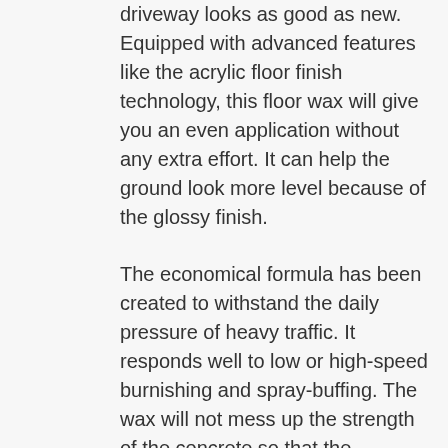driveway looks as good as new. Equipped with advanced features like the acrylic floor finish technology, this floor wax will give you an even application without any extra effort. It can help the ground look more level because of the glossy finish.
The economical formula has been created to withstand the daily pressure of heavy traffic. It responds well to low or high-speed burnishing and spray-buffing. The wax will not mess up the strength of the concrete so that the driveway can still serve its purpose smoothly.
This floor wax is flexible, and you will be able to use it all around the house. Not only does it work on concrete, but it will